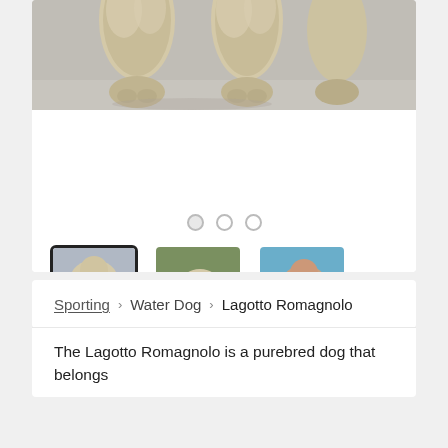[Figure (photo): Close-up photo of a fluffy cream/tan dog's legs and paws against a light gray background — only the lower body is visible, cropped at the top edge.]
[Figure (photo): Thumbnail 1 (selected): cream/tan Lagotto Romagnolo dog standing on gray background, full body visible.]
[Figure (photo): Thumbnail 2: Lagotto Romagnolo dog standing outdoors near water and rocks, green foliage background.]
[Figure (photo): Thumbnail 3: Lagotto Romagnolo dog outdoors against a blue sky background.]
Sporting > Water Dog > Lagotto Romagnolo
The Lagotto Romagnolo is a purebred dog that belongs